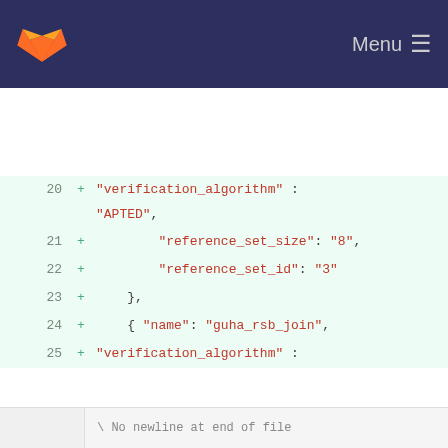GitLab Menu
[Figure (screenshot): Code diff view showing JSON configuration with line numbers 20-35, additions marked with +, string values highlighted in red]
No newline at end of file